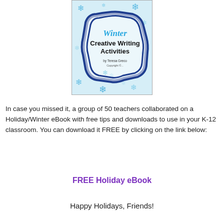[Figure (illustration): Book cover for 'Winter Creative Writing Activities' with a light blue background, snowflakes, a decorative dark blue frame, and colorful title text. Subtitle reads 'by Teresa Greco'.]
In case you missed it, a group of 50 teachers collaborated on a Holiday/Winter eBook with free tips and downloads to use in your K-12 classroom. You can download it FREE by clicking on the link below:
FREE Holiday eBook
Happy Holidays, Friends!